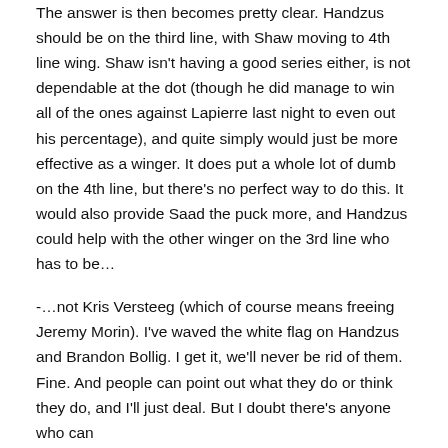The answer is then becomes pretty clear. Handzus should be on the third line, with Shaw moving to 4th line wing. Shaw isn't having a good series either, is not dependable at the dot (though he did manage to win all of the ones against Lapierre last night to even out his percentage), and quite simply would just be more effective as a winger. It does put a whole lot of dumb on the 4th line, but there's no perfect way to do this. It would also provide Saad the puck more, and Handzus could help with the other winger on the 3rd line who has to be…
-…not Kris Versteeg (which of course means freeing Jeremy Morin). I've waved the white flag on Handzus and Brandon Bollig. I get it, we'll never be rid of them. Fine. And people can point out what they do or think they do, and I'll just deal. But I doubt there's anyone who can